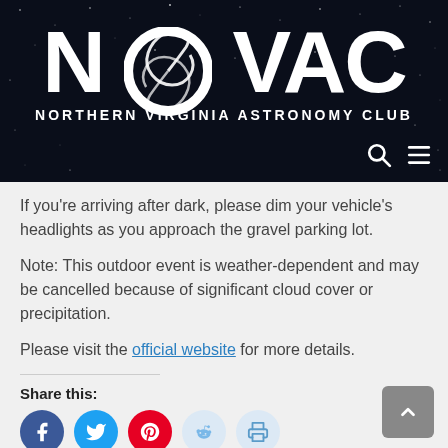[Figure (logo): NOVAC Northern Virginia Astronomy Club logo on a dark starry night sky background with a spiral galaxy replacing the 'O' in NOVAC. White text on dark navy/black background. Search and menu icons visible in bottom right.]
If you're arriving after dark, please dim your vehicle's headlights as you approach the gravel parking lot.
Note: This outdoor event is weather-dependent and may be cancelled because of significant cloud cover or precipitation.
Please visit the official website for more details.
Share this: